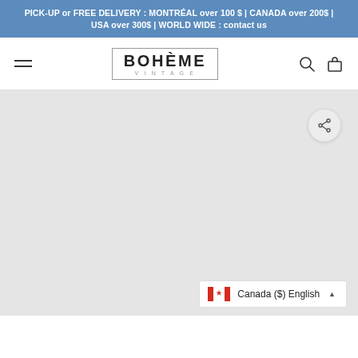PICK-UP or FREE DELIVERY : MONTRÉAL over 100 $ | CANADA over 200$ | USA over 300$ | WORLD WIDE : contact us
[Figure (logo): Bohème Vintage logo — text BOHÈME in large caps with VINTAGE in small spaced caps below, enclosed in a rectangle border]
[Figure (screenshot): Light gray blank product page area with a circular share button icon in the upper right and a Canada ($) English language selector in the lower right]